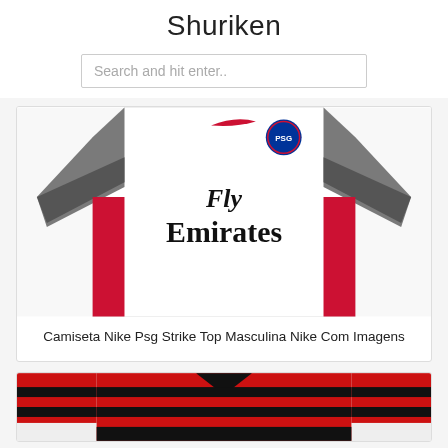Shuriken
Search and hit enter..
[Figure (photo): PSG Nike white jersey with gray sleeves, Fly Emirates sponsor text, Nike swoosh and PSG badge visible]
Camiseta Nike Psg Strike Top Masculina Nike Com Imagens
[Figure (photo): Flamengo red and black striped jersey, partially visible from neckline down]